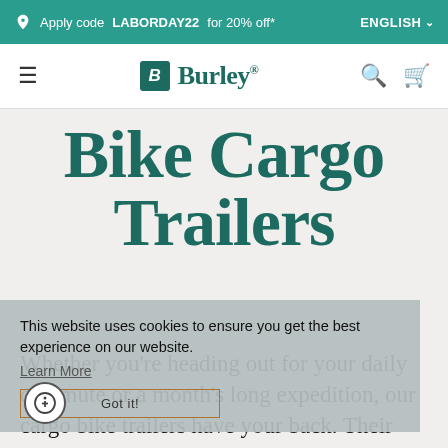Apply code LABORDAY22 for 20% off*  ENGLISH
[Figure (logo): Burley brand logo with stylized B icon and wordmark]
Bike Cargo Trailers
This website uses cookies to ensure you get the best experience on our website. Learn More  Got it!
Whether you're heading out for your daily commute or a month's long expedition, our cargo bike trailers have your back. Their